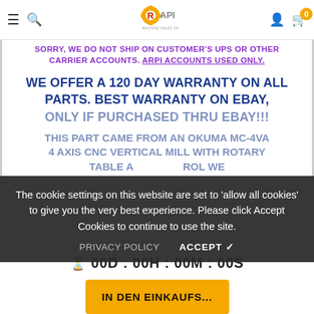ARPI Machine Sales Inc. — Navigation bar with logo, search, user, and cart icons
SORRY, WE DO NOT SHIP ON CUSTOMER'S UPS OR OTHER CARRIER ACCOUNTS. ARPI ACCOUNTS USED ONLY.
WE OFFER A 120 DAY WARRANTY ON ALL PARTS. BEST WARRANTY ON EBAY, ONLY IF PURCHASED THRU EBAY!!!
The cookie settings on this website are set to 'allow all cookies' to give you the very best experience. Please click Accept Cookies to continue to use the site.
THIS PART CAME FROM AN OKUMA MC-4VA 4 AXIS CNC VERTICAL MILL WITH ROTARY TABLE AND FANUC CONTROL WE
00D : 00H : 00M : 00S
IN DEN EINKAUFS...